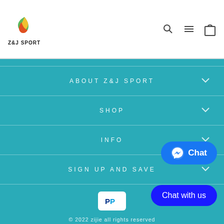[Figure (logo): Z&J Sport logo — colorful bird/leaf shape above text Z&J SPORT]
[Figure (illustration): Header icons: search magnifier, hamburger menu, shopping bag]
ABOUT Z&J SPORT
SHOP
INFO
SIGN UP AND SAVE
[Figure (logo): PayPal logo in white rounded rectangle]
[Figure (illustration): Facebook Messenger Chat button (blue rounded pill with messenger icon and Chat text)]
[Figure (illustration): Chat with us button (dark blue rounded pill)]
© 2022 zijie all rights reserved